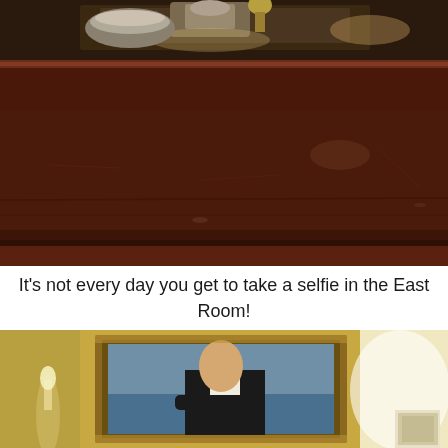[Figure (photo): Close-up photograph of a large dark reddish-brown marble or wood surface, likely a fireplace mantel or ledge in the East Room of the White House. At the top, decorative silver/metallic items are visible on a shelf behind the surface.]
It’s not every day you get to take a selfie in the East Room!
[Figure (photo): Photograph of a large framed portrait painting hanging on a yellow-gold wall, showing a man in a dark suit with arms crossed (appears to be a portrait of George Washington or similar historical figure). Candelabras and other room furnishings are visible on either side.]